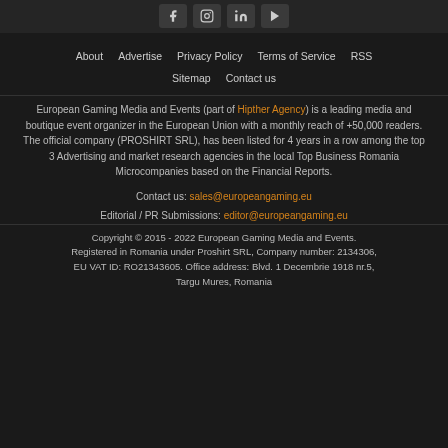[Social media icons: Facebook, Instagram, LinkedIn, YouTube]
About  |  Advertise  |  Privacy Policy  |  Terms of Service  |  RSS  |  Sitemap  |  Contact us
European Gaming Media and Events (part of Hipther Agency) is a leading media and boutique event organizer in the European Union with a monthly reach of +50,000 readers. The official company (PROSHIRT SRL), has been listed for 4 years in a row among the top 3 Advertising and market research agencies in the local Top Business Romania Microcompanies based on the Financial Reports.
Contact us: sales@europeangaming.eu
Editorial / PR Submissions: editor@europeangaming.eu
Copyright © 2015 - 2022 European Gaming Media and Events. Registered in Romania under Proshirt SRL, Company number: 2134306, EU VAT ID: RO21343605. Office address: Blvd. 1 Decembrie 1918 nr.5, Targu Mures, Romania